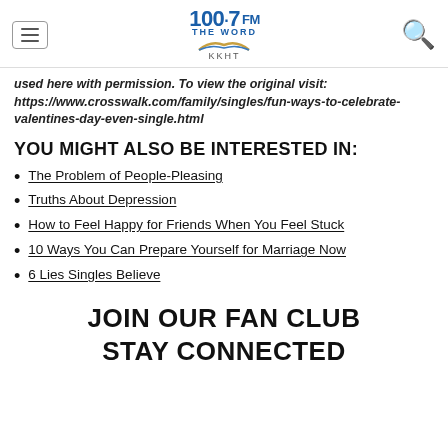100.7 FM THE WORD KKHT
used here with permission. To view the original visit: https://www.crosswalk.com/family/singles/fun-ways-to-celebrate-valentines-day-even-single.html
YOU MIGHT ALSO BE INTERESTED IN:
The Problem of People-Pleasing
Truths About Depression
How to Feel Happy for Friends When You Feel Stuck
10 Ways You Can Prepare Yourself for Marriage Now
6 Lies Singles Believe
JOIN OUR FAN CLUB STAY CONNECTED